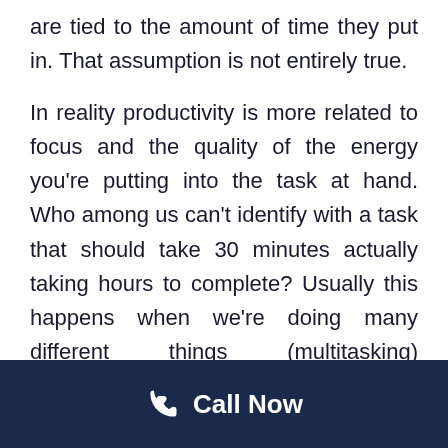are tied to the amount of time they put in. That assumption is not entirely true.
In reality productivity is more related to focus and the quality of the energy you're putting into the task at hand. Who among us can't identify with a task that should take 30 minutes actually taking hours to complete? Usually this happens when we're doing many different things (multitasking) simultaneously while trying to complete a single important task.
Call Now